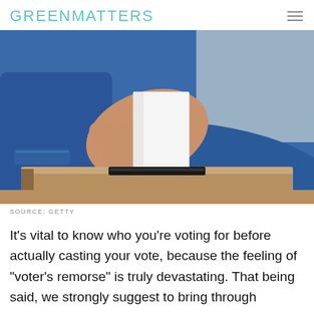GREENMATTERS
[Figure (photo): A person in a blue shirt inserting a white ballot/envelope into a tan voting box slot, photographed against a grey background.]
SOURCE: GETTY
It's vital to know who you're voting for before actually casting your vote, because the feeling of "voter's remorse" is truly devastating. That being said, we strongly suggest to bring through